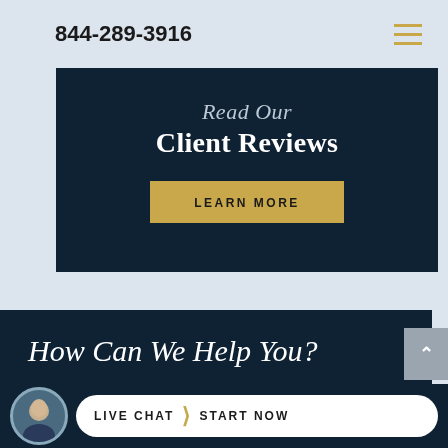844-289-3916
Read Our Client Reviews
LEARN MORE
How Can We Help You?
LIVE CHAT  START NOW